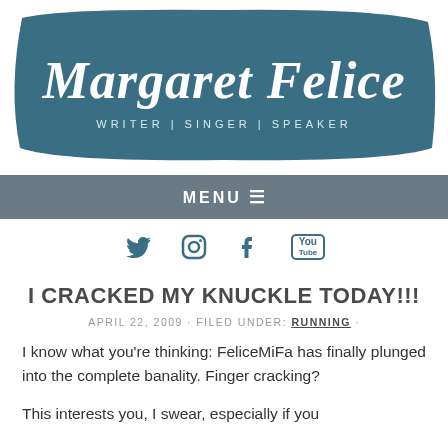[Figure (logo): Margaret Felice blog header with teal brushstroke background, cursive title 'Margaret Felice' and tagline 'WRITER | SINGER | SPEAKER']
MENU ☰
[Figure (infographic): Social media icons: Twitter bird, Instagram camera, Facebook f, YouTube logo in teal color]
I CRACKED MY KNUCKLE TODAY!!!
APRIL 22, 2009 · FILED UNDER: RUNNING ·
I know what you're thinking: FeliceMiFa has finally plunged into the complete banality. Finger cracking?
This interests you, I swear, especially if you